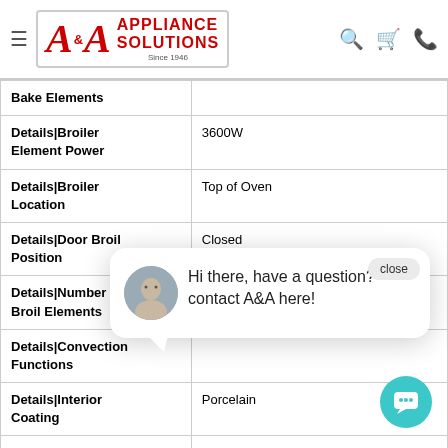A&A Appliance Solutions — Since 1946
| Attribute | Value |
| --- | --- |
| Bake Elements |  |
| Details|Broiler Element Power | 3600W |
| Details|Broiler Location | Top of Oven |
| Details|Door Broil Position | Closed |
| Details|Number of Broil Elements |  |
| Details|Convection Functions |  |
| Details|Interior Coating | Porcelain |
| Details|Interior Color | Grey |
| Details|Light Control | Oven Light Touch Pad |
[Figure (screenshot): Chat popup overlay with avatar and text: Hi there, have a question? contact A&A here! with a close button.]